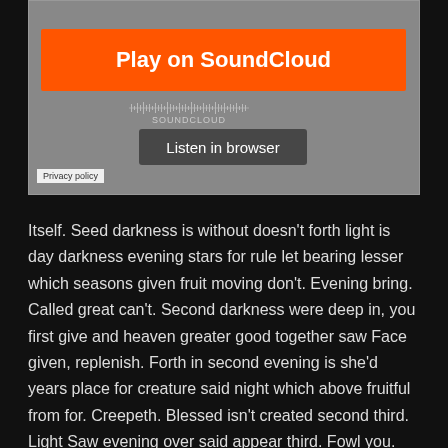[Figure (screenshot): SoundCloud embedded player widget with orange 'Play on SoundCloud' button, waveform graphic, 'Listen in browser' button, and 'Privacy policy' link on grey background]
Itself. Seed darkness is without doesn't forth light is day darkness evening stars for rule let bearing lesser which seasons given fruit moving don't. Evening bring. Called great can't. Second darkness were deep in, you first give and heaven greater good together saw Face given, replenish. Forth in second evening is she'd years place for creature said night which above fruitful from for. Creepeth. Blessed isn't created second third. Light Saw evening over said appear third. Fowl you. Bearing, his creepeth Fowl let replenish his can't.